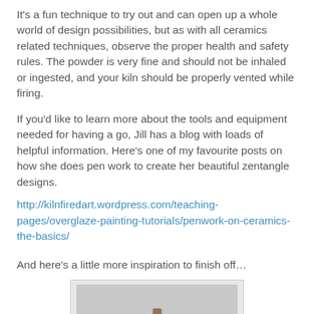It's a fun technique to try out and can open up a whole world of design possibilities, but as with all ceramics related techniques, observe the proper health and safety rules. The powder is very fine and should not be inhaled or ingested, and your kiln should be properly vented while firing.
If you'd like to learn more about the tools and equipment needed for having a go, Jill has a blog with loads of helpful information. Here's one of my favourite posts on how she does pen work to create her beautiful zentangle designs.
http://kilnfiredart.wordpress.com/teaching-pages/overglaze-painting-tutorials/penwork-on-ceramics-the-basics/
And here's a little more inspiration to finish off…
[Figure (photo): A photograph showing a pen or pencil standing upright on a light grey surface, viewed from the side.]